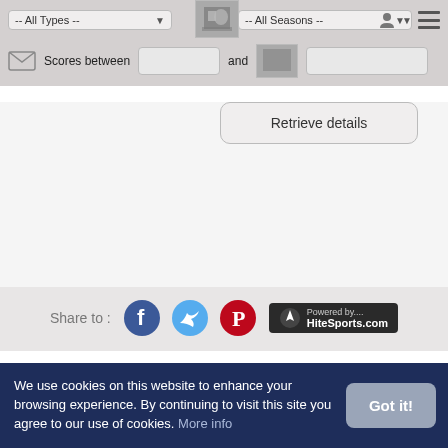[Figure (screenshot): Web application filter bar with dropdown selects for All Types and All Seasons, and a thumbnail image in the center]
Scores between and
Retrieve details
Share to :
[Figure (logo): Powered by.... HiteSports.com logo with rocket icon]
We use cookies on this website to enhance your browsing experience. By continuing to visit this site you agree to our use of cookies. More info